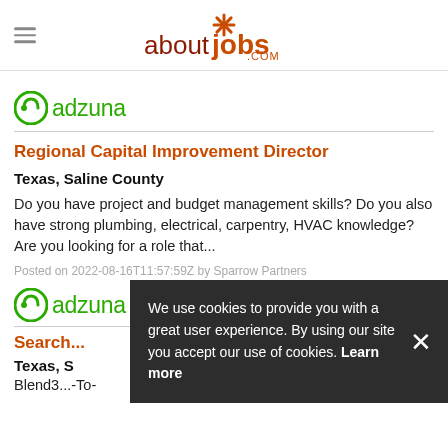aboutjobs.com
[Figure (logo): Adzuna logo with circular icon and green text]
Regional Capital Improvement Director
Texas, Saline County
Do you have project and budget management skills? Do you also have strong plumbing, electrical, carpentry, HVAC knowledge? Are you looking for a role that...
Posted on 2022-08-16T11:57:59Z by Sparrow Partners
[Figure (logo): Adzuna logo with circular icon and green text (second instance)]
Search...
Texas, S
Blend3...To-
We use cookies to provide you with a great user experience. By using our site you accept our use of cookies. Learn more